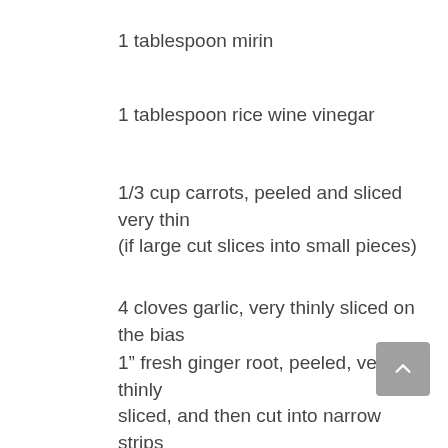1 tablespoon mirin
1 tablespoon rice wine vinegar
1/3 cup carrots, peeled and sliced very thin (if large cut slices into small pieces)
4 cloves garlic, very thinly sliced on the bias
1” fresh ginger root, peeled, very thinly sliced, and then cut into narrow strips
2-pounds thick-cut cod loin, skinned and cut into 4-6 portion size pieces
8 ounces shiitake mushrooms, stems